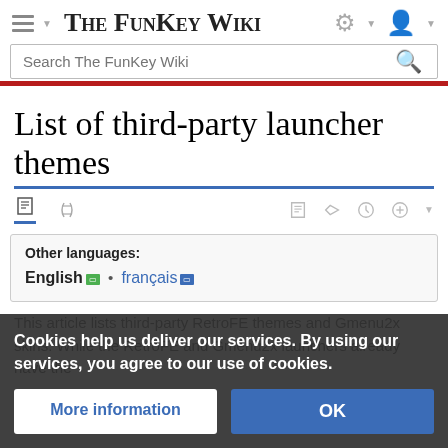The FunKey Wiki
Search The FunKey Wiki
List of third-party launcher themes
Other languages: English • français
This article lists third-party RetroFE themes and Gmenu2x skins. While the RetroFE and Gmenu2x launchers already have the Classic, Limitation, Flat, FunKey, RetroDek 1.1 and Default, GSW, ScalinesBlue, ScalinesRed default themes, respectively, users seeking to change themes may do so using one of the additional theme options available. Should you
Cookies help us deliver our services. By using our services, you agree to our use of cookies.